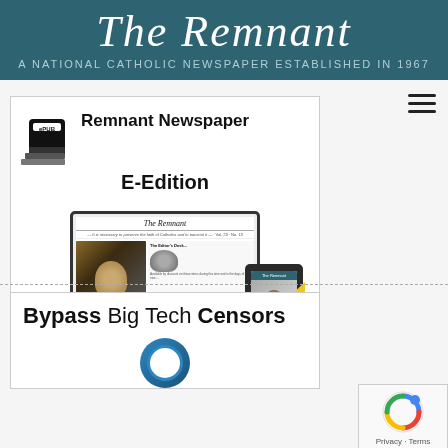The Remnant
A National Catholic Newspaper Established in 1967
[Figure (illustration): Remnant Newspaper E-Edition advertisement banner featuring ePUB icon, text 'Remnant Newspaper E-Edition', monitor showing The Remnant newspaper front page with religious figures, and a tablet device with 'Read it NOW' badge]
[Figure (illustration): Second advertisement box with text 'Bypass Big Tech Censors']
[Figure (logo): reCAPTCHA logo with 'Privacy - Terms' link]